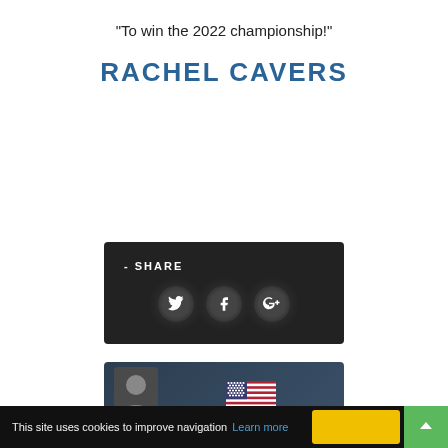“To win the 2022 championship!”
RACHEL CAVERS
[Figure (infographic): Dark share bar with Twitter, Facebook, and Google+ icon circles and label '- SHARE']
[Figure (infographic): Dark card with avatar photo on left and US flag emoji on right]
This site uses cookies to improve navigation Learn more